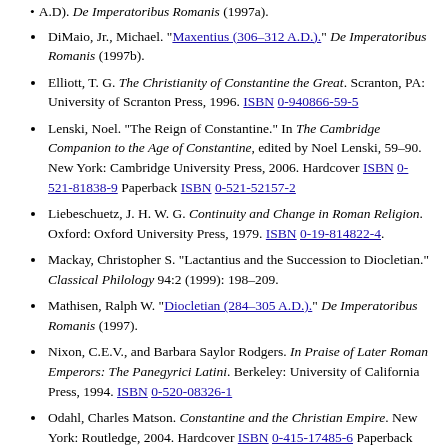A.D). De Imperatoribus Romanis (1997a).
DiMaio, Jr., Michael. "Maxentius (306–312 A.D.)." De Imperatoribus Romanis (1997b).
Elliott, T. G. The Christianity of Constantine the Great. Scranton, PA: University of Scranton Press, 1996. ISBN 0-940866-59-5
Lenski, Noel. "The Reign of Constantine." In The Cambridge Companion to the Age of Constantine, edited by Noel Lenski, 59–90. New York: Cambridge University Press, 2006. Hardcover ISBN 0-521-81838-9 Paperback ISBN 0-521-52157-2
Liebeschuetz, J. H. W. G. Continuity and Change in Roman Religion. Oxford: Oxford University Press, 1979. ISBN 0-19-814822-4.
Mackay, Christopher S. "Lactantius and the Succession to Diocletian." Classical Philology 94:2 (1999): 198–209.
Mathisen, Ralph W. "Diocletian (284–305 A.D.)." De Imperatoribus Romanis (1997).
Nixon, C.E.V., and Barbara Saylor Rodgers. In Praise of Later Roman Emperors: The Panegyrici Latini. Berkeley: University of California Press, 1994. ISBN 0-520-08326-1
Odahl, Charles Matson. Constantine and the Christian Empire. New York: Routledge, 2004. Hardcover ISBN 0-415-17485-6 Paperback ISBN 0-415-38655-1
O'Reilly, Donald. Lost Legion Rediscovered: The Mystery of the Theban Legion. Pen & Sword Military, November 2011